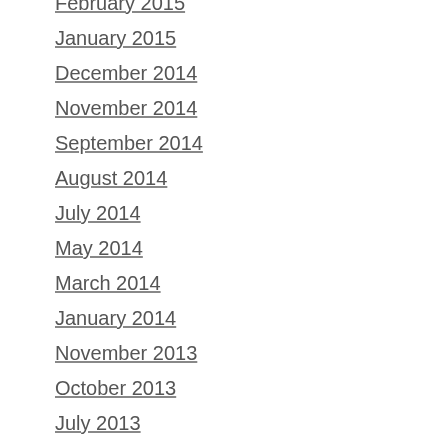February 2015
January 2015
December 2014
November 2014
September 2014
August 2014
July 2014
May 2014
March 2014
January 2014
November 2013
October 2013
July 2013
June 2013
May 2013
April 2013
March 2013